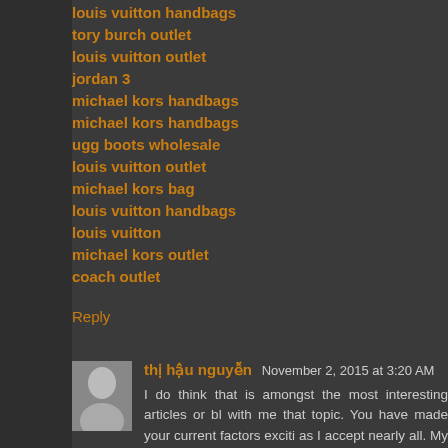louis vuitton handbags
tory burch outlet
louis vuitton outlet
jordan 3
michael kors handbags
michael kors handbags
ugg boots wholesale
louis vuitton outlet
michael kors bag
louis vuitton handbags
louis vuitton
michael kors outlet
coach outlet
Reply
thị hậu nguyễn  November 2, 2015 at 3:20 AM
I do think that is amongst the most interesting articles or bl with me that topic. You have made your current factors exciti as I accept nearly all. My business is delighted I discovered these days.
happy wheels
super mario bros
pacman